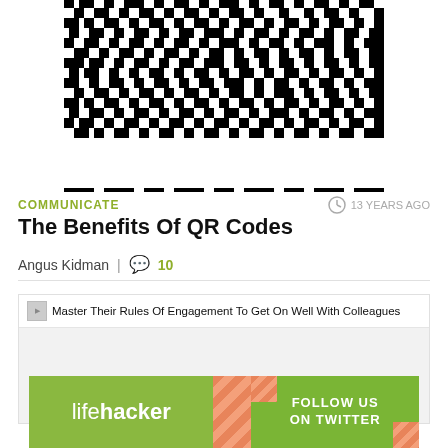[Figure (other): QR code image, black and white, partially cropped at top]
COMMUNICATE
13 YEARS AGO
The Benefits Of QR Codes
Angus Kidman | 10
[Figure (other): Related article image placeholder: Master Their Rules Of Engagement To Get On Well With Colleagues]
[Figure (other): Lifehacker banner ad: FOLLOW US ON TWITTER]